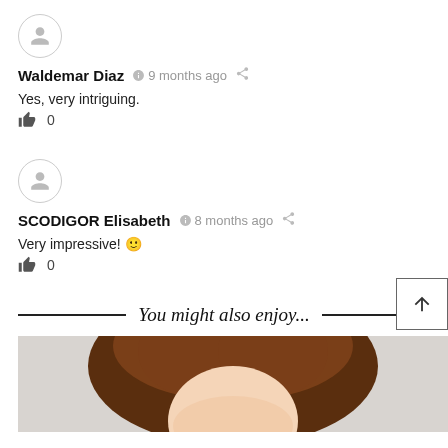[Figure (other): User avatar circle with person icon for Waldemar Diaz]
Waldemar Diaz  ⏱ 9 months ago  🔗
Yes, very intriguing.
👍 0
[Figure (other): User avatar circle with person icon for SCODIGOR Elisabeth]
SCODIGOR Elisabeth  ⏱ 8 months ago  🔗
Very impressive! 🙂
👍 0
You might also enjoy...
[Figure (photo): Photo of a person with brown hair, cropped at bottom of page]